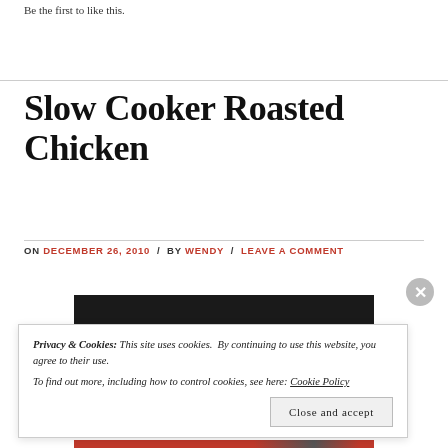Be the first to like this.
Slow Cooker Roasted Chicken
ON DECEMBER 26, 2010 / BY WENDY / LEAVE A COMMENT
[Figure (photo): Partial view of a roasted chicken photo, mostly dark/shadowed]
Privacy & Cookies: This site uses cookies. By continuing to use this website, you agree to their use. To find out more, including how to control cookies, see here: Cookie Policy
Close and accept